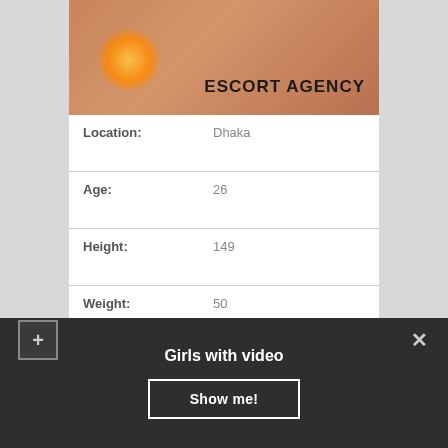[Figure (photo): Photo with ESCORT AGENCY text overlay]
| Location: | Dhaka |
| Age: | 26 |
| Height: | 149 |
| Weight: | 50 |
| Time to call ☎: | 10:00 – 21:00 |
| Figure: | 92-61-89 |
| Escort Preferences: | Striptease pro, Photo / Video rec, Lesbi-show hard |
| Outcall: | Possible |
Girls with video
Show me!